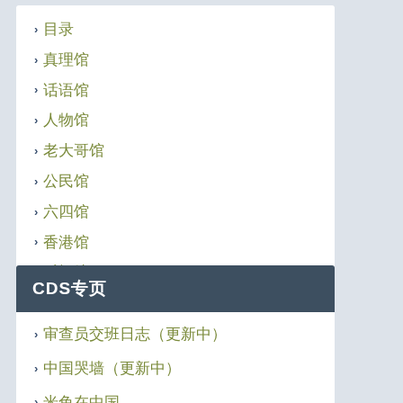目录
真理馆
话语馆
人物馆
老大哥馆
公民馆
六四馆
香港馆
时间馆
CDS专页
审查员交班日志（更新中）
中国哭墙（更新中）
米兔在中国
加速主义